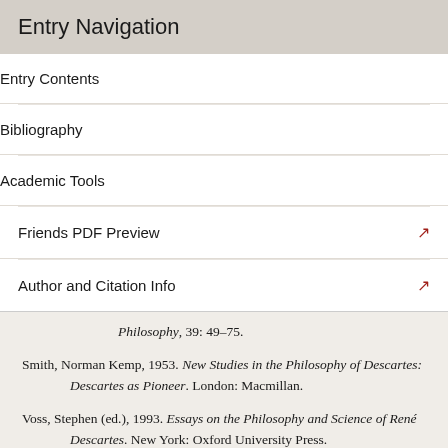Entry Navigation
Entry Contents
Bibliography
Academic Tools
Friends PDF Preview
Author and Citation Info
Philosophy, 39: 49–75.
Smith, Norman Kemp, 1953. New Studies in the Philosophy of Descartes: Descartes as Pioneer. London: Macmillan.
Voss, Stephen (ed.), 1993. Essays on the Philosophy and Science of René Descartes. New York: Oxford University Press.
Williams, Bernard, 1978. Descartes, The Project of Pure Inquiry. London: Penguin.
Wilson, Catherine, 2003. Descartes's Meditations: An